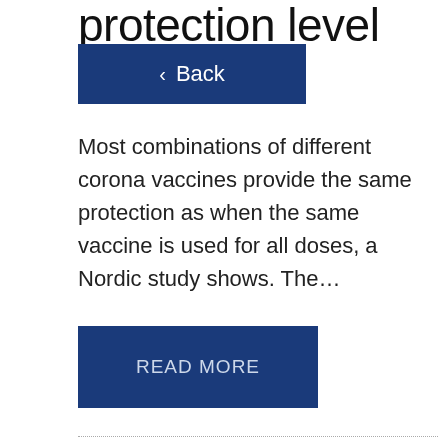protection level
[Figure (screenshot): Blue Back navigation button with left arrow]
Most combinations of different corona vaccines provide the same protection as when the same vaccine is used for all doses, a Nordic study shows. The…
[Figure (screenshot): Blue READ MORE button]
[Figure (photo): Photo of a man speaking at a NATO press conference with NATO logo in background]
NATO announces increased presence in the Arctic